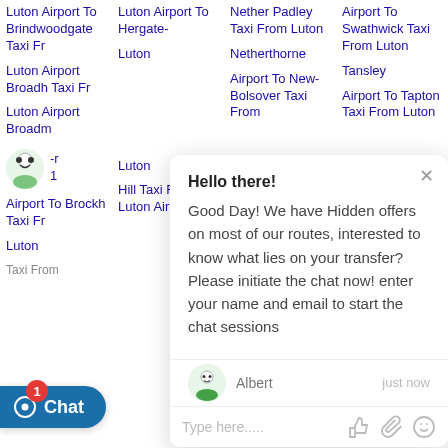Luton Airport To Brindwoodgate Taxi Fr Luton Airport Broadh Taxi Fr Luton Airport Broadm -r 1
Luton Airport To Hergate- Luton
Nether Padley Taxi From Luton Netherthorne
Airport To Swathwick Taxi From Luton Tansley
[Figure (screenshot): Chat popup overlay with greeting message from Albert: 'Hello there! Good Day! We have Hidden offers on most of our routes, interested to know what lies on your transfer? Please initiate the chat now! enter your name and email to start the chat sessions' with text input area and icons]
Airport To Brockh Taxi Fr Luton
Hill Taxi From Luton Airport To
Airport To New-Bolsover Taxi From
Airport To Tapton Taxi From Luton